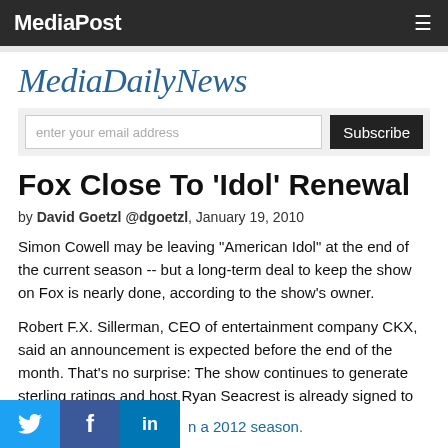MediaPost
[Figure (logo): MediaDailyNews logo in blue italic serif font]
Fox Close To 'Idol' Renewal
by David Goetzl @dgoetzl, January 19, 2010
Simon Cowell may be leaving "American Idol" at the end of the current season -- but a long-term deal to keep the show on Fox is nearly done, according to the show's owner.
Robert F.X. Sillerman, CEO of entertainment company CKX, said an announcement is expected before the end of the month. That's no surprise: The show continues to generate sterling ratings and host Ryan Seacrest is already signed to
n a 2012 season.